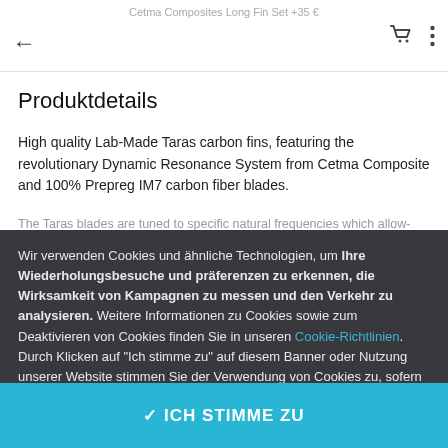Cetma Composites Long Fin Set +35 €
Produktdetails
High quality Lab-Made Taras carbon fins, featuring the revolutionary Dynamic Resonance System from Cetma Composite and 100% Prepreg IM7 carbon fiber blades.
The Taras blades are tuned to specific natural frequencies which allow... The Taras blades are designed with a blade angle of 27 degrees for optimal performance and variable blade rigidity (3-D-Design)
Wir verwenden Cookies und ähnliche Technologien, um Ihre Wiederholungsbesuche und präferenzen zu erkennen, die Wirksamkeit von Kampagnen zu messen und den Verkehr zu analysieren. Weitere Informationen zu Cookies sowie zum Deaktivieren von Cookies finden Sie in unseren Cookie-Richtlinien. Durch Klicken auf "Ich stimme zu" auf diesem Banner oder Nutzung unserer Website stimmen Sie der Verwendung von Cookies zu, sofern Sie diese nicht deaktiviert haben.
✓ ICH STIMME ZU